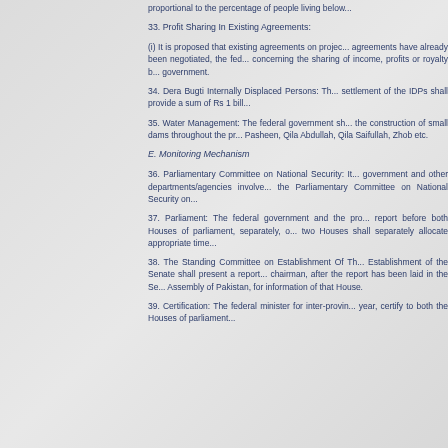proportional to the percentage of people living below...
33. Profit Sharing In Existing Agreements:
(i) It is proposed that existing agreements on projects... agreements have already been negotiated, the federal... concerning the sharing of income, profits or royalty b... government.
34. Dera Bugti Internally Displaced Persons: Th... settlement of the IDPs shall provide a sum of Rs 1 bill...
35. Water Management: The federal government sh... the construction of small dams throughout the pr... Pasheen, Qila Abdullah, Qila Saifullah, Zhob etc.
E. Monitoring Mechanism
36. Parliamentary Committee on National Security: It... government and other departments/agencies involve... the Parliamentary Committee on National Security on...
37. Parliament: The federal government and the pro... report before both Houses of parliament, separately, o... two Houses shall separately allocate appropriate time...
38. The Standing Committee on Establishment Of Th... Establishment of the Senate shall present a report... chairman, after the report has been laid in the Se... Assembly of Pakistan, for information of that House.
39. Certification: The federal minister for inter-provin... year, certify to both the Houses of parliament...